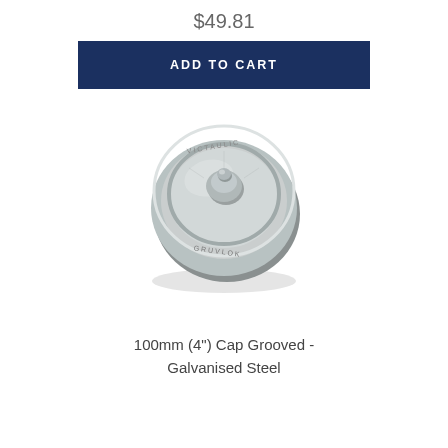$49.81
ADD TO CART
[Figure (photo): A galvanised steel grooved cap (100mm / 4 inch), round, metallic silver, viewed from above-front angle, showing stamped lettering around the rim and a central raised nub.]
100mm (4") Cap Grooved - Galvanised Steel